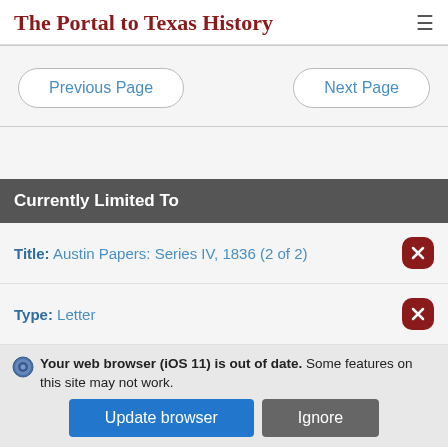The Portal to Texas History
Previous Page | Next Page
Currently Limited To
Title: Austin Papers: Series IV, 1836 (2 of 2)
Type: Letter
Your web browser (iOS 11) is out of date. Some features on this site may not work. Update browser | Ignore